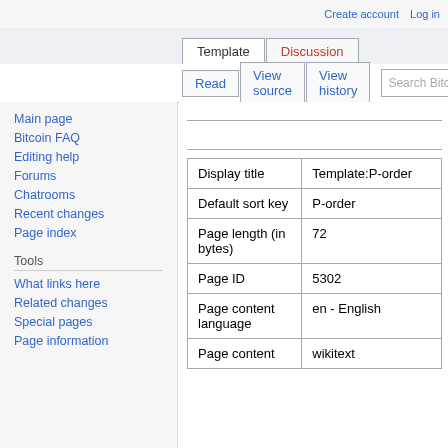Create account   Log in
Template   Discussion
Read   View source   View history
Main page
Bitcoin FAQ
Editing help
Forums
Chatrooms
Recent changes
Page index
Tools
What links here
Related changes
Special pages
Page information
|  |  |
| --- | --- |
| Display title | Template:P-order |
| Default sort key | P-order |
| Page length (in bytes) | 72 |
| Page ID | 5302 |
| Page content language | en - English |
| Page content | wikitext |